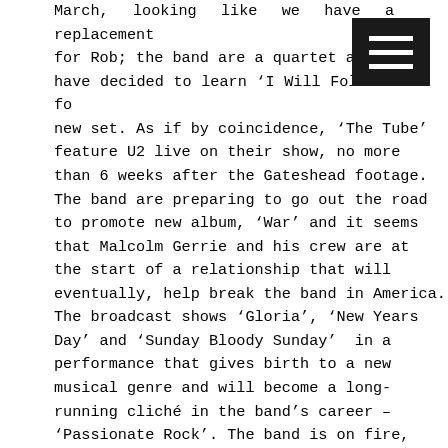March, looking like we have a replacement for Rob; the band are a quartet again have decided to learn 'I Will Follow' for new set. As if by coincidence, 'The Tube' feature U2 live on their show, no more than 6 weeks after the Gateshead footage. The band are preparing to go out the road to promote new album, 'War' and it seems that Malcolm Gerrie and his crew are at the start of a relationship that will eventually, help break the band in America. The broadcast shows 'Gloria', 'New Years Day' and 'Sunday Bloody Sunday' in a performance that gives birth to a new musical genre and will become a long-running cliché in the band's career – 'Passionate Rock'. The band is on fire, playing every song as if sheer exuberance and energy were a life-saving currency. I